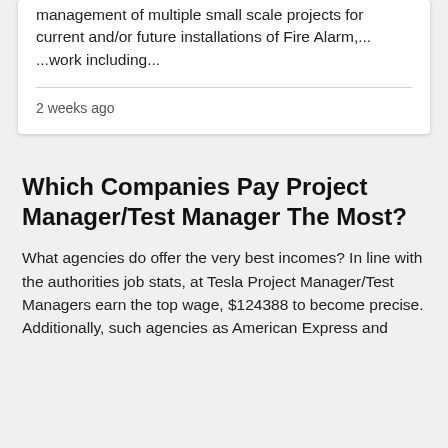management of multiple small scale projects for current and/or future installations of Fire Alarm,...  ...work including...
2 weeks ago
Which Companies Pay Project Manager/Test Manager The Most?
What agencies do offer the very best incomes? In line with the authorities job stats, at Tesla Project Manager/Test Managers earn the top wage, $124388 to become precise. Additionally, such agencies as American Express and